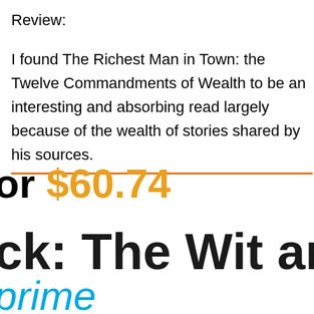Review:
I found The Richest Man in Town: the Twelve Commandments of Wealth to be an interesting and absorbing read largely because of the wealth of stories shared by his sources.
or $60.74
ck: The Wit and W
prime